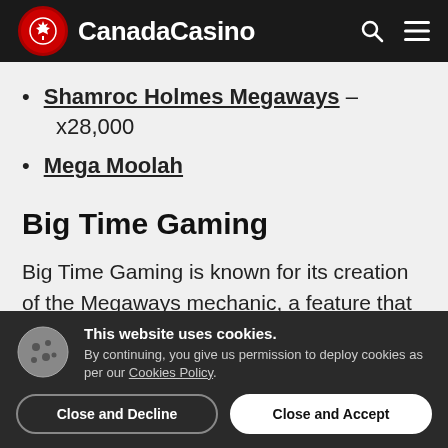CanadaCasino
Shamroc Holmes Megaways – x28,000
Mega Moolah
Big Time Gaming
Big Time Gaming is known for its creation of the Megaways mechanic, a feature that has
This website uses cookies. By continuing, you give us permission to deploy cookies as per our Cookies Policy.